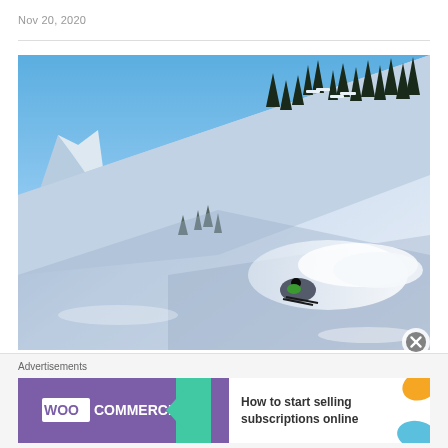Nov 20, 2020
[Figure (photo): A skier descending a steep powder snow slope in a mountainous backcountry terrain with evergreen trees and blue sky in the background.]
Advertisements
[Figure (screenshot): WooCommerce advertisement banner: 'How to start selling subscriptions online']